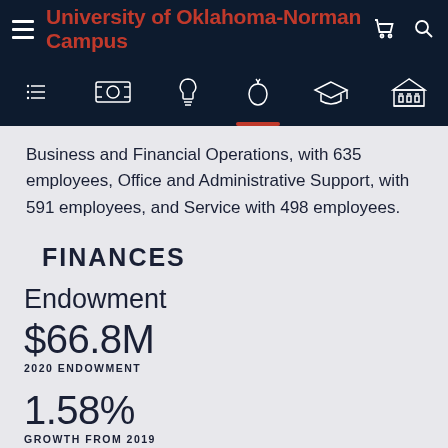University of Oklahoma-Norman Campus
Business and Financial Operations, with 635 employees, Office and Administrative Support, with 591 employees, and Service with 498 employees.
FINANCES
Endowment
$66.8M
2020 ENDOWMENT
1.58%
GROWTH FROM 2019